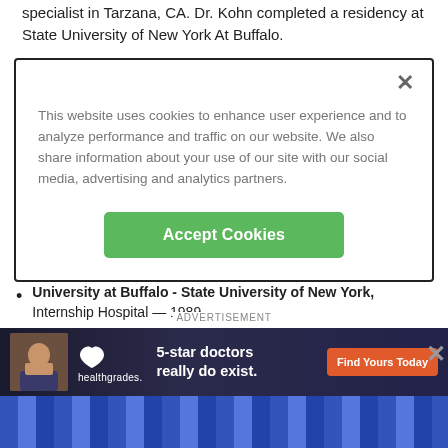specialist in Tarzana, CA. Dr. Kohn completed a residency at State University of New York At Buffalo.
This website uses cookies to enhance user experience and to analyze performance and traffic on our website. We also share information about your use of our site with our social media, advertising and analytics partners.
Accept Cookies
University at Buffalo - State University of New York, Internship Hospital — 1989
Ohio State University College Of Medicine And Public Health, Medical School — 1988
Boston Univ, Undergraduate School — 1984
Boston University, Undergraduate School —
[Figure (infographic): Healthgrades advertisement banner: '5-star doctors really do exist. Find Yours Today']
ADVERTISEMENT